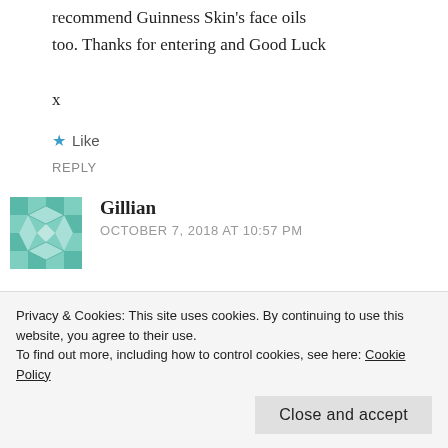recommend Guinness Skin's face oils too. Thanks for entering and Good Luck

x
★ Like
REPLY
Gillian
OCTOBER 7, 2018 AT 10:57 PM
Good luck everyone! I'm intrigued by charcoal cleansing powder, anyone tried
Privacy & Cookies: This site uses cookies. By continuing to use this website, you agree to their use.
To find out more, including how to control cookies, see here: Cookie Policy
Close and accept